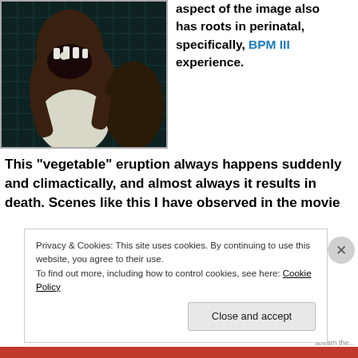[Figure (photo): A dark movie scene showing what appears to be a creature or monster figure wearing a white shirt, with its mouth open, and a human figure nearby, against a patterned dark background.]
aspect of the image also has roots in perinatal, specifically, BPM III experience.
This “vegetable” eruption always happens suddenly and climactically, and almost always it results in death. Scenes like this I have observed in the movie “...
Privacy & Cookies: This site uses cookies. By continuing to use this website, you agree to their use.
To find out more, including how to control cookies, see here: Cookie Policy
Close and accept